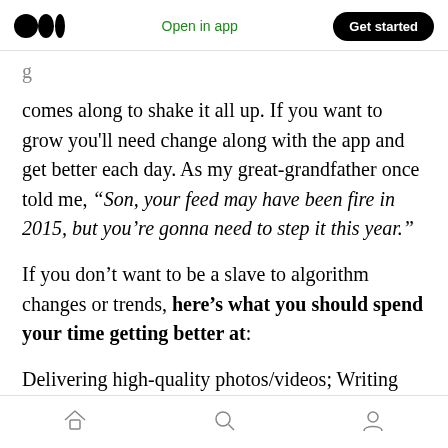Medium logo | Open in app | Get started
g... comes along to shake it all up. If you want to grow you'll need change along with the app and get better each day. As my great-grandfather once told me, “Son, your feed may have been fire in 2015, but you’re gonna need to step it this year.”
If you don’t want to be a slave to algorithm changes or trends, here’s what you should spend your time getting better at:
Delivering high-quality photos/videos; Writing thoughtful, relateable captions that elicit some...